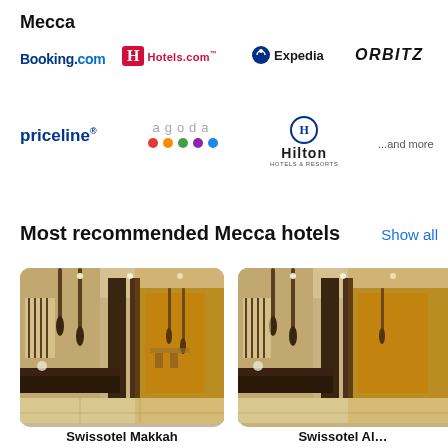Mecca
[Figure (logo): Booking.com logo]
[Figure (logo): Hotels.com logo]
[Figure (logo): Expedia logo]
[Figure (logo): ORBITZ logo]
[Figure (logo): priceline logo]
[Figure (logo): agoda logo with colored dots]
[Figure (logo): Hilton Hotels & Resorts logo]
...and more
Most recommended Mecca hotels
Show all
[Figure (photo): Luxurious hotel lobby interior with warm lighting, marble floors, dark wood partitions, and pendant lights — first hotel card]
[Figure (photo): Luxurious hotel lobby interior similar to first card — second hotel card (partially visible)]
Swissotel Makkah
Swissotel Al...